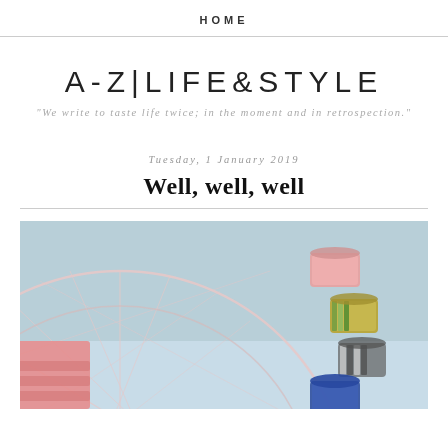HOME
A-Z|LIFE&STYLE
"We write to taste life twice; in the moment and in retrospection."
Tuesday, 1 January 2019
Well, well, well
[Figure (photo): A colorful ferris wheel against a light blue sky, showing the circular metal structure with multicolored gondola cars including red, green, blue, and striped patterns.]